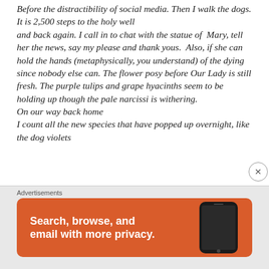Before the distractibility of social media. Then I walk the dogs.
It is 2,500 steps to the holy well
and back again. I call in to chat with the statue of Mary, tell her the news, say my please and thank yous.  Also, if she can hold the hands (metaphysically, you understand) of the dying since nobody else can. The flower posy before Our Lady is still fresh. The purple tulips and grape hyacinths seem to be holding up though the pale narcissi is withering.
On our way back home
I count all the new species that have popped up overnight, like the dog violets
Advertisements
[Figure (screenshot): Advertisement banner for DuckDuckGo: orange background, smartphone image on right, white text reading 'Search, browse, and email with more privacy.']